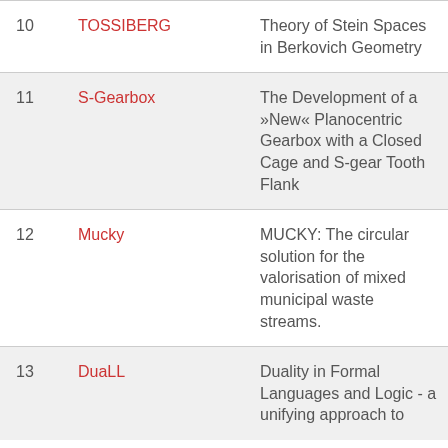| # | Name | Description |
| --- | --- | --- |
| 10 | TOSSIBERG | Theory of Stein Spaces in Berkovich Geometry |
| 11 | S-Gearbox | The Development of a »New« Planocentric Gearbox with a Closed Cage and S-gear Tooth Flank |
| 12 | Mucky | MUCKY: The circular solution for the valorisation of mixed municipal waste streams. |
| 13 | DuaLL | Duality in Formal Languages and Logic - a unifying approach to |